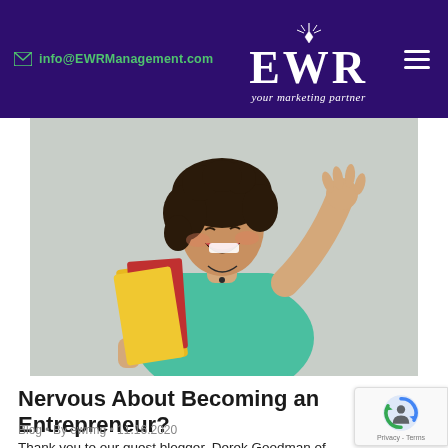info@EWRManagement.com | EWR your marketing partner
[Figure (photo): Woman in teal shirt holding yellow folder and books, laughing and raising one hand, against a light gray background]
Nervous About Becoming an Entrepreneur?
Blog • By ewrmg • 11.16.2020
Thank you to our guest blogger, Derek Goodman of